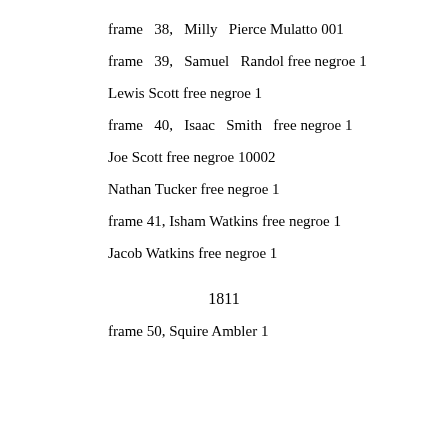frame 38, Milly Pierce Mulatto 001
frame 39, Samuel Randol free negroe 1
Lewis Scott free negroe 1
frame 40, Isaac Smith free negroe 1
Joe Scott free negroe 10002
Nathan Tucker free negroe 1
frame 41, Isham Watkins free negroe 1
Jacob Watkins free negroe 1
1811
frame 50, Squire Ambler 1